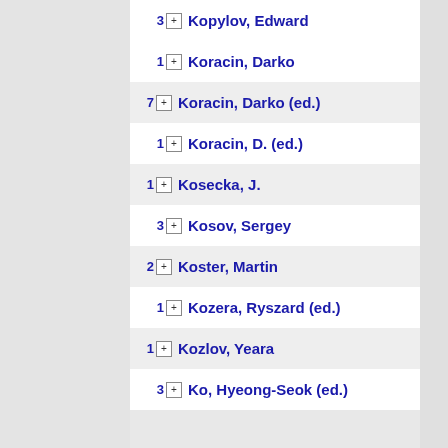3 Kopylov, Edward
1 Koracin, Darko
7 Koracin, Darko (ed.)
1 Koracin, D. (ed.)
1 Kosecka, J.
3 Kosov, Sergey
2 Koster, Martin
1 Kozera, Ryszard (ed.)
1 Kozlov, Yeara
3 Ko, Hyeong-Seok (ed.)
16 Krawczyk, Grzegorz
1 Krawczyk, Grzegorz Marek
1 Kreuzer, Sebastian
1 Krislock, Nathan
3 Kristensson, Per Ola
2 Kropatsch, Walter (ed.)
1 Krüger, Antonio (ed.)
2 Krüger, Björn
2 Krüger, Jens
1 Kück, Hendrik
2 Kuhlen, Torsten (ed.)
1 Kuhn, Alexander